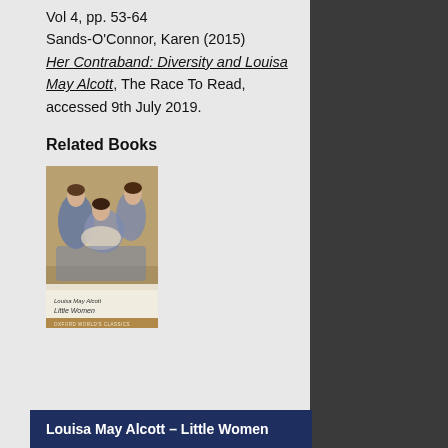Vol 4, pp. 53-64
Sands-O'Connor, Karen (2015)
Her Contraband: Diversity and Louisa May Alcott, The Race To Read, accessed 9th July 2019.
Related Books
[Figure (illustration): Book cover of 'Little Women' by Louisa May Alcott, showing a painted illustration of women in Victorian dress reading together, with the Oxford World's Classics edition branding.]
Louisa May Alcott – Little Women